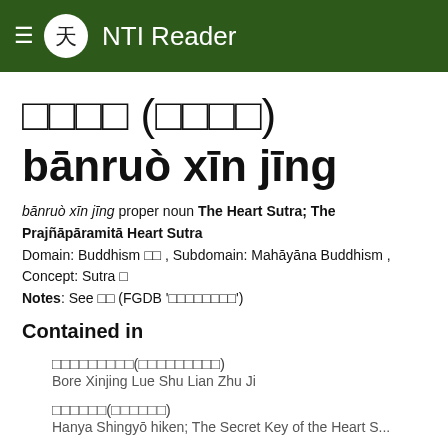NTI Reader
□□□□ (□□□□) bānruò xīn jīng
bānruò xīn jīng proper noun The Heart Sutra; The Prajñāpāramitā Heart Sutra
Domain: Buddhism □□ , Subdomain: Mahāyāna Buddhism , Concept: Sutra □
Notes: See □□ (FGDB '□□□□□□□□')
Contained in
□□□□□□□□□(□□□□□□□□□)
Bore Xinjing Lue Shu Lian Zhu Ji
□□□□□□(□□□□□□)
Hanya Shingyō hiken; The Secret Key of the Heart S...